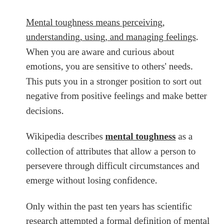Mental toughness means perceiving, understanding, using, and managing feelings. When you are aware and curious about emotions, you are sensitive to others' needs. This puts you in a stronger position to sort out negative from positive feelings and make better decisions.
Wikipedia describes mental toughness as a collection of attributes that allow a person to persevere through difficult circumstances and emerge without losing confidence.
Only within the past ten years has scientific research attempted a formal definition of mental toughness as a psychological construct. Dr. Jim [continues]